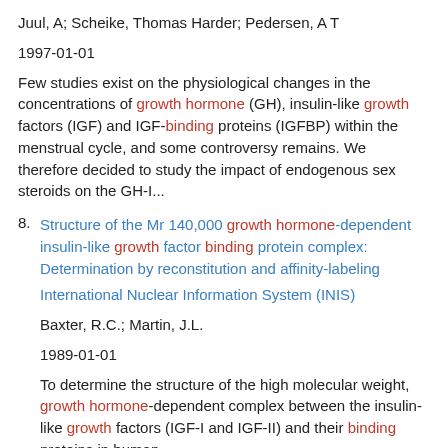Juul, A; Scheike, Thomas Harder; Pedersen, A T
1997-01-01
Few studies exist on the physiological changes in the concentrations of growth hormone (GH), insulin-like growth factors (IGF) and IGF-binding proteins (IGFBP) within the menstrual cycle, and some controversy remains. We therefore decided to study the impact of endogenous sex steroids on the GH-I...
8. Structure of the Mr 140,000 growth hormone-dependent insulin-like growth factor binding protein complex: Determination by reconstitution and affinity-labeling
International Nuclear Information System (INIS)
Baxter, R.C.; Martin, J.L.
1989-01-01
To determine the structure of the high molecular weight, growth hormone-dependent complex between the insulin-like growth factors (IGF-I and IGF-II) and their binding proteins in human